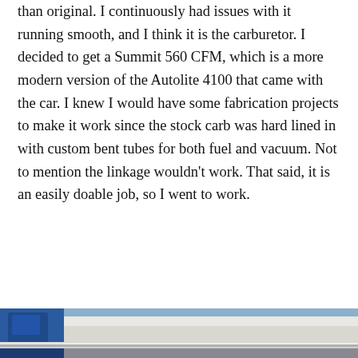than original. I continuously had issues with it running smooth, and I think it is the carburetor. I decided to get a Summit 560 CFM, which is a more modern version of the Autolite 4100 that came with the car. I knew I would have some fabrication projects to make it work since the stock carb was hard lined in with custom bent tubes for both fuel and vacuum. Not to mention the linkage wouldn't work. That said, it is an easily doable job, so I went to work.
CONTINUE READING →
[Figure (photo): Partial view of a car engine bay or exterior, showing blue mechanical components and chrome trim/bumper strip at the bottom of the page.]